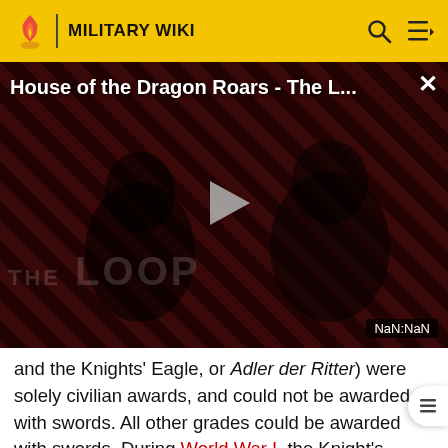MILITARY WIKI
[Figure (screenshot): Video thumbnail for 'House of the Dragon Roars - The L...' with play button, dark red diagonal stripe background, two figures visible, 'THE LOOP' watermark text, and NaN:NaN timestamp indicator]
and the Knights' Eagle, or Adler der Ritter) were solely civilian awards, and could not be awarded with swords. All other grades could be awarded with swords. During World War I, the Knight's Cross with Swords of the Royal House Order of Hohenzollern became in effect an intermediate award between the Iron Cross 1st Class and